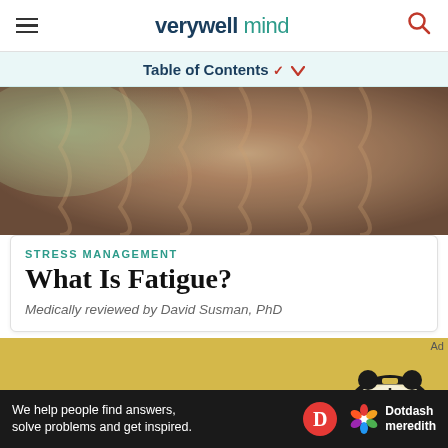verywell mind
Table of Contents
[Figure (photo): Close-up of a person in a brown knitted sweater lying down, with soft light from a window in the background]
STRESS MANAGEMENT
What Is Fatigue?
Medically reviewed by David Susman, PhD
[Figure (photo): Yellow background with a black alarm clock in the lower right, partial view]
We help people find answers, solve problems and get inspired.
[Figure (logo): Dotdash Meredith logo with red D circle and colorful flower icon]